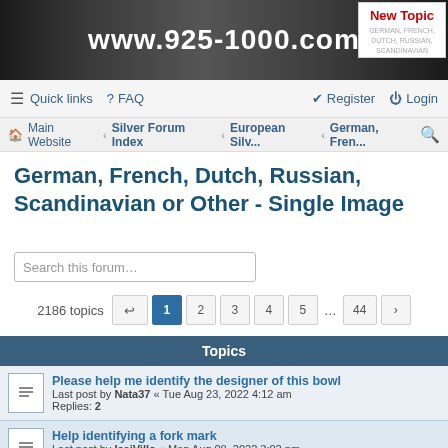www.925-1000.com
New Topic
Quick links  FAQ  Register  Login
Main Website < Silver Forum Index < European Silv... < German, Fren...
German, French, Dutch, Russian, Scandinavian or Other - Single Image
Search this forum…
2186 topics  1  2  3  4  5  ...  44  >
Topics
Please help me identify the designer of this bowl
Last post by Nata37 « Tue Aug 23, 2022 4:12 am
Replies: 2
Help identifying a fork mark
Last post by IsaiVillo « Mon Aug 08, 2022 3:02 pm
Replies: 4
Please help me with this hallmark
Last post by AG2012 « Wed Aug 03, 2022 7:45 am
Replies: 4
austro-hungarian chicken 1750